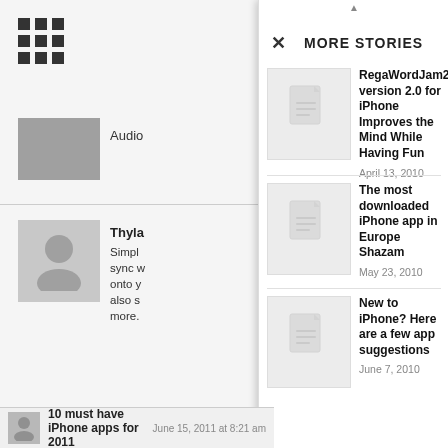[Figure (screenshot): Mobile app screenshot showing a 'More Stories' overlay panel on the right side over a comment feed on the left. The overlay contains three story items with thumbnail placeholders and titles with dates.]
MORE STORIES
RegaWordJam2 version 2.0 for iPhone Improves the Mind While Having Fun
April 13, 2010
The most downloaded iPhone app in Europe Shazam
May 23, 2010
New to iPhone? Here are a few app suggestions
June 7, 2010
10 must have iPhone apps for 2011
June 15, 2011 at 8:21 am